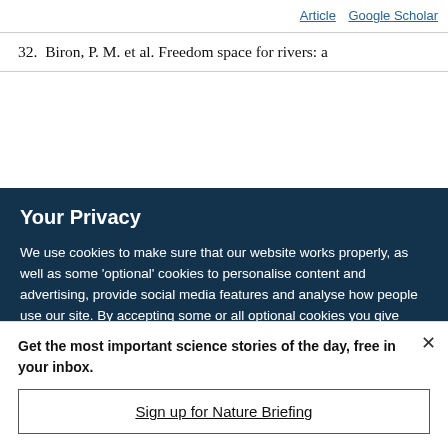Article  Google Scholar
32.  Biron, P. M. et al. Freedom space for rivers: a
Your Privacy
We use cookies to make sure that our website works properly, as well as some ‘optional’ cookies to personalise content and advertising, provide social media features and analyse how people use our site. By accepting some or all optional cookies you give consent to the processing of your personal data, including transfer to third parties, some in countries outside of the European Economic Area that do not offer the same data protection standards as the country where you live. You can decide which optional cookies to accept by clicking on ‘Manage Settings’, where you can
Get the most important science stories of the day, free in your inbox.
Sign up for Nature Briefing